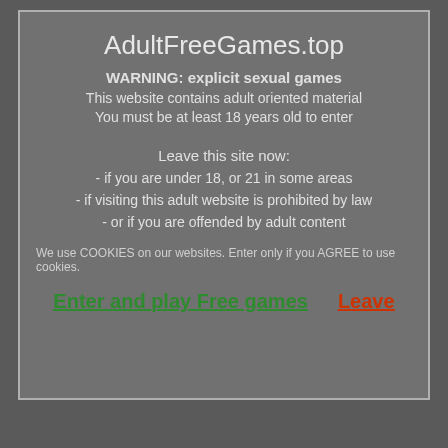AdultFreeGames.top
WARNING: explicit sexual games
This website contains adult oriented material
You must be at least 18 years old to enter
Leave this site now:
- if you are under 18, or 21 in some areas
- if visiting this adult website is prohibited by law
- or if you are offended by adult content
We use COOKIES on our websites. Enter only if you AGREE to use cookies.
Enter and play Free games   Leave